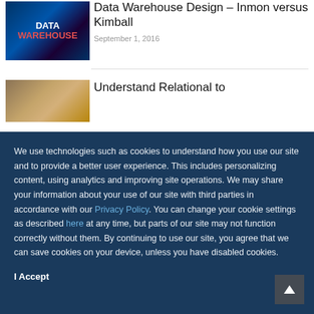[Figure (photo): Data Warehouse themed image with blue background and red 'DATA WAREHOUSE' text]
Data Warehouse Design – Inmon versus Kimball
September 1, 2016
[Figure (photo): Partial image with golden/brown tones, partially obscured by cookie overlay]
Understand Relational to
We use technologies such as cookies to understand how you use our site and to provide a better user experience. This includes personalizing content, using analytics and improving site operations. We may share your information about your use of our site with third parties in accordance with our Privacy Policy. You can change your cookie settings as described here at any time, but parts of our site may not function correctly without them. By continuing to use our site, you agree that we can save cookies on your device, unless you have disabled cookies.
I Accept